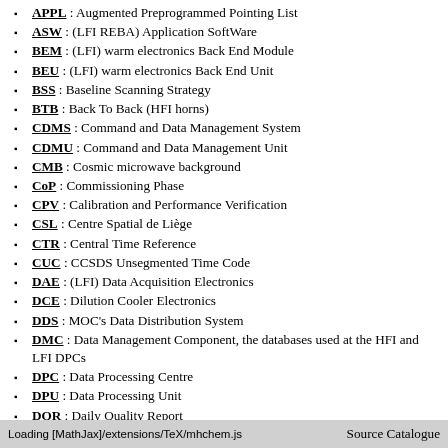APPL : Augmented Preprogrammed Pointing List
ASW : (LFI REBA) Application SoftWare
BEM : (LFI) warm electronics Back End Module
BEU : (LFI) warm electronics Back End Unit
BSS : Baseline Scanning Strategy
BTB : Back To Back (HFI horns)
CDMS : Command and Data Management System
CDMU : Command and Data Management Unit
CMB : Cosmic microwave background
CoP : Commissioning Phase
CPV : Calibration and Performance Verification
CSL : Centre Spatial de Liège
CTR : Central Time Reference
CUC : CCSDS Unsegmented Time Code
DAE : (LFI) Data Acquisition Electronics
DCE : Dilution Cooler Electronics
DDS : MOC's Data Distribution System
DMC : Data Management Component, the databases used at the HFI and LFI DPCs
DPC : Data Processing Centre
DPU : Data Processing Unit
DQR : Daily Quality Report
DTCP : Daily Tele-Communication Period
EOL : End Of Life
Loading [MathJax]/extensions/TeX/mhchem.js
Source Catalogue